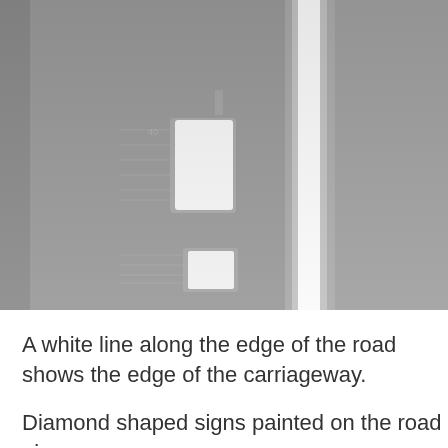[Figure (photo): A grayscale photograph showing a road surface from above. A bright white vertical line runs down the right-center of the image representing a road edge marking. On the left-center area there is a white rectangular shape (a diamond/direction sign painted on the road) and a smaller one near the bottom. The overall image has a grey tone suggesting an infrared or processed road-detection image.]
A white line along the edge of the road shows the edge of the carriageway.
Diamond shaped signs painted on the road give